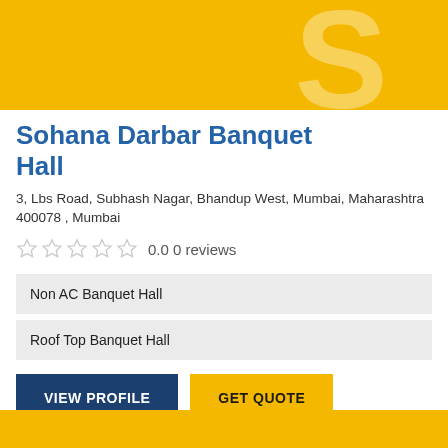[Figure (illustration): Yellow banner with large stylized white 'S' letter logo]
Sohana Darbar Banquet Hall
3, Lbs Road, Subhash Nagar, Bhandup West, Mumbai, Maharashtra 400078 , Mumbai
0.0 0 reviews
Non AC Banquet Hall
Roof Top Banquet Hall
VIEW PROFILE
GET QUOTE
[Figure (illustration): Yellow banner at bottom of card]